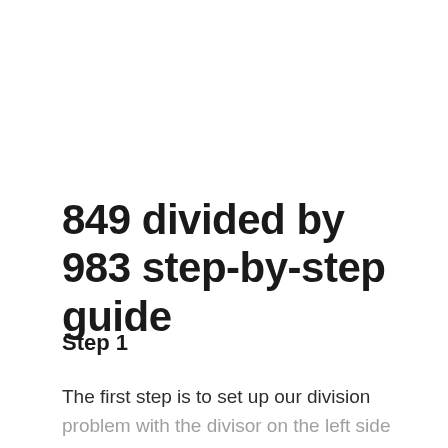849 divided by 983 step-by-step guide
Step 1
The first step is to set up our division problem with the divisor on the left side and the dividend on the right side, like we